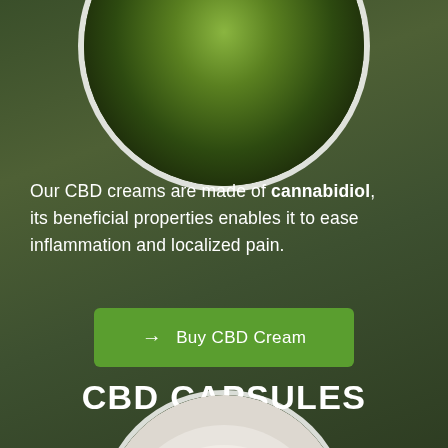[Figure (photo): Circular cropped photo of a bowl containing green liquid (CBD cream or matcha), with dark wooden bowl visible, framed with white circular border, set against dark green blurred background]
Our CBD creams are made of cannabidiol, its beneficial properties enables it to ease inflammation and localized pain.
[Figure (other): Green rounded rectangle button with right arrow icon and text 'Buy CBD Cream']
CBD CAPSULES
[Figure (photo): Circular cropped photo of a white plate containing golden/amber colored CBD capsules (gel capsules), framed with white circular border]